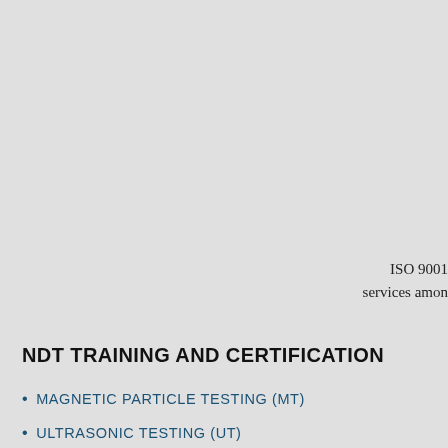ISO 9001
services amon
NDT TRAINING AND CERTIFICATION
MAGNETIC PARTICLE TESTING (MT)
ULTRASONIC TESTING (UT)